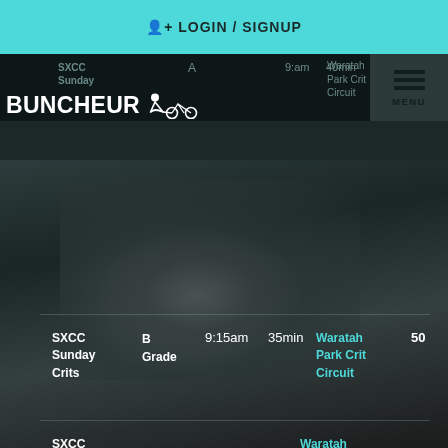LOGIN / SIGNUP
BUNCHEUR
SXCC Sunday Crits B Grade 9:15am 35min Waratah Park Crit Circuit 50
SXCC Sunday Crits C Grade 8:00am 30min Waratah Park Crit Circuit 50
SXCC ... Waratah